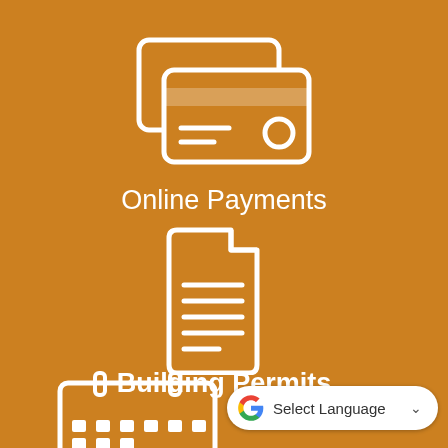[Figure (illustration): White credit card icon (two overlapping cards with lines and a circle) on orange background]
Online Payments
[Figure (illustration): White document/permit icon (paper with folded corner and text lines) on orange background]
Building Permits
[Figure (illustration): White calendar icon partially visible at bottom of page on orange background]
[Figure (other): Google Translate Select Language widget button in bottom right corner]